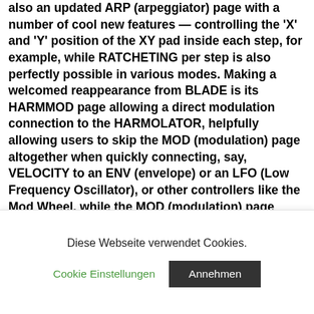also an updated ARP (arpeggiator) page with a number of cool new features — controlling the 'X' and 'Y' position of the XY pad inside each step, for example, while RATCHETING per step is also perfectly possible in various modes. Making a welcomed reappearance from BLADE is its HARMMOD page allowing a direct modulation connection to the HARMOLATOR, helpfully allowing users to skip the MOD (modulation) page altogether when quickly connecting, say, VELOCITY to an ENV (envelope) or an LFO (Low Frequency Oscillator), or other controllers like the Mod Wheel, while the MOD (modulation) page itself includes extra envelopes, LFOs, and a MODULATION MATRIX, as well as an ADVANCED mode. Noticeably new to BLADE 2 is its WAV page, enabling users to analyse an
Diese Webseite verwendet Cookies.
Cookie Einstellungen
Annehmen